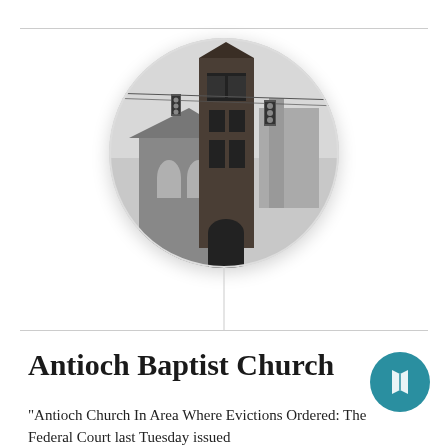[Figure (photo): Black and white circular cropped photograph of Antioch Baptist Church building showing a tall square clock tower and church facade with arched windows. A traffic signal hangs on wires in the foreground.]
Antioch Baptist Church
"Antioch Church In Area Where Evictions Ordered: The Federal Court last Tuesday issued